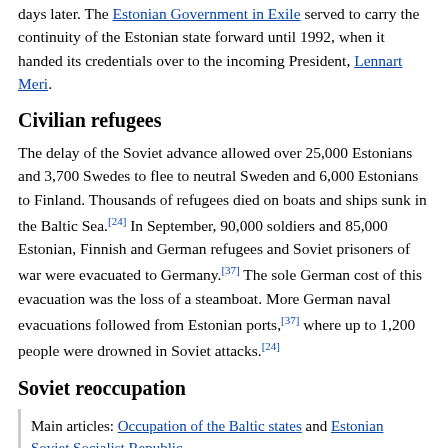days later. The Estonian Government in Exile served to carry the continuity of the Estonian state forward until 1992, when it handed its credentials over to the incoming President, Lennart Meri.
Civilian refugees
The delay of the Soviet advance allowed over 25,000 Estonians and 3,700 Swedes to flee to neutral Sweden and 6,000 Estonians to Finland. Thousands of refugees died on boats and ships sunk in the Baltic Sea.[24] In September, 90,000 soldiers and 85,000 Estonian, Finnish and German refugees and Soviet prisoners of war were evacuated to Germany.[37] The sole German cost of this evacuation was the loss of a steamboat. More German naval evacuations followed from Estonian ports,[37] where up to 1,200 people were drowned in Soviet attacks.[24]
Soviet reoccupation
Main articles: Occupation of the Baltic states and Estonian Soviet Socialist Republic
Soviet rule of Estonia was re-established by force, and sovietisation followed, mostly carried out in 1944–1950. The forced collectivisation of agriculture began in 1947 and was